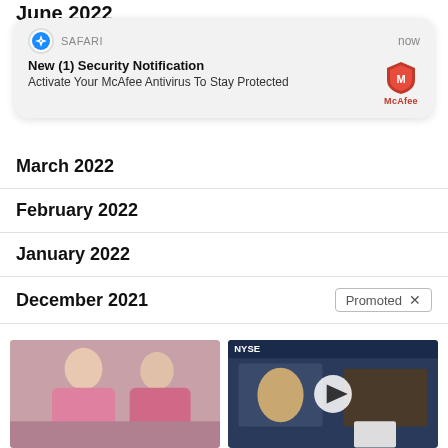June 2022
[Figure (screenshot): Safari browser push notification overlay: 'New (1) Security Notification — Activate Your McAfee Antivirus To Stay Protected' with McAfee logo]
March 2022
February 2022
January 2022
December 2021
[Figure (photo): Two women in pink sitting on a couch]
A Teaspoon On An Empty Stomach Burns 12 Lbs Of Fat A Week Safely!
🔥 7,049
[Figure (screenshot): NYSE video thumbnail with play button overlay]
Biden Probably Wants This Video Destroyed — Massive Currency Upheaval Has Started
🔥 29,228